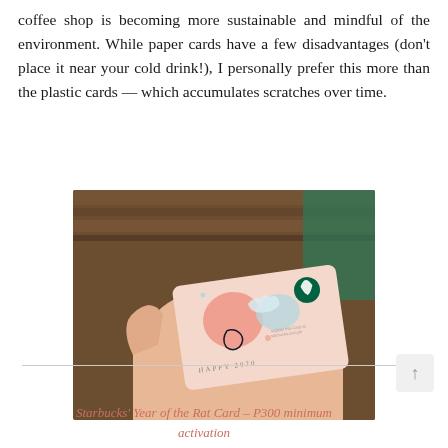coffee shop is becoming more sustainable and mindful of the environment. While paper cards have a few disadvantages (don't place it near your cold drink!), I personally prefer this more than the plastic cards — which accumulates scratches over time.
[Figure (photo): A hand holding a Starbucks Year of the Rat paper gift card with pink and light blue design, featuring decorative swirls and the Starbucks logo, with text 'HAPPY 2020' at the bottom.]
Starbucks' Year of the Rat Card – P300 minimum activation